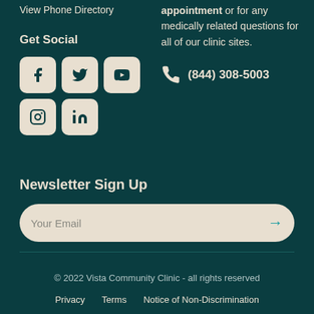View Phone Directory
Get Social
[Figure (illustration): Social media icons: Facebook, Twitter, YouTube, Instagram, LinkedIn in beige rounded square buttons on dark teal background]
appointment or for any medically related questions for all of our clinic sites.
(844) 308-5003
Newsletter Sign Up
Your Email
© 2022 Vista Community Clinic - all rights reserved
Privacy   Terms   Notice of Non-Discrimination